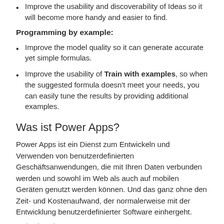Improve the usability and discoverability of Ideas so it will become more handy and easier to find.
Programming by example:
Improve the model quality so it can generate accurate yet simple formulas.
Improve the usability of Train with examples, so when the suggested formula doesn't meet your needs, you can easily tune the results by providing additional examples.
Was ist Power Apps?
Power Apps ist ein Dienst zum Entwickeln und Verwenden von benutzerdefinierten Geschäftsanwendungen, die mit Ihren Daten verbunden werden und sowohl im Web als auch auf mobilen Geräten genutzt werden können. Und das ganz ohne den Zeit- und Kostenaufwand, der normalerweise mit der Entwicklung benutzerdefinierter Software einhergeht.
Mehr dazu lesen